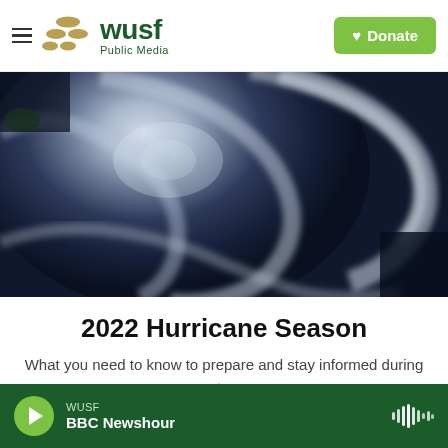WUSF Public Media — Donate
[Figure (photo): Satellite aerial view of a hurricane/tropical storm, showing swirling cloud bands in shades of white and dark blue/navy.]
2022 Hurricane Season
What you need to know to prepare and stay informed during a storm.
Read More
WUSF — BBC Newshour